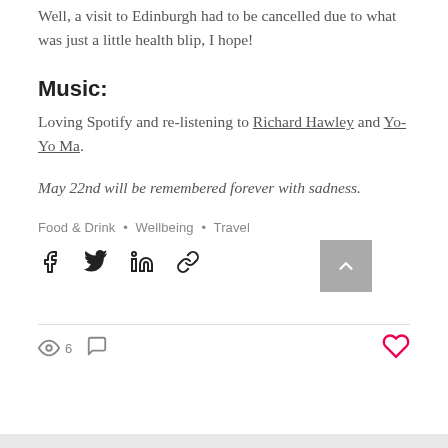Well, a visit to Edinburgh had to be cancelled due to what was just a little health blip, I hope!
Music:
Loving Spotify and re-listening to Richard Hawley and Yo-Yo Ma.
May 22nd will be remembered forever with sadness.
Food & Drink  •  Wellbeing  •  Travel
[Figure (infographic): Social share buttons: Facebook, Twitter, LinkedIn, link icon; back-to-top button (grey square with upward chevron)]
[Figure (infographic): Post stats: eye icon with count 6, comment icon; heart/like icon on the right]
[Figure (infographic): Bottom grey bar]